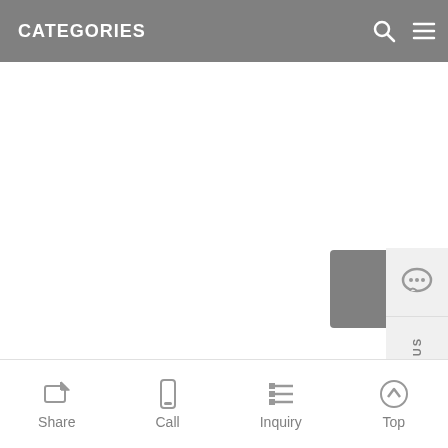CATEGORIES
[Figure (screenshot): Empty white content area of a mobile website/app page]
[Figure (infographic): Side contact panel with chat bubble icon and vertical CONTACT US text, plus a gray scroll/back button]
Share  Call  Inquiry  Top